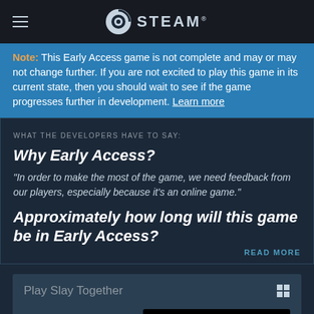STEAM®
Note: This Early Access game is not complete and may or may not change further. If you are not excited to play this game in its current state, then you should wait to see if the game progresses further in development. Learn more
WHAT THE DEVELOPERS HAVE TO SAY:
Why Early Access?
"In order to make the most of the game, we need feedback from our players, especially because it's an online game."
Approximately how long will this game be in Early Access?
READ MORE
Play Slay Together
Free to Play